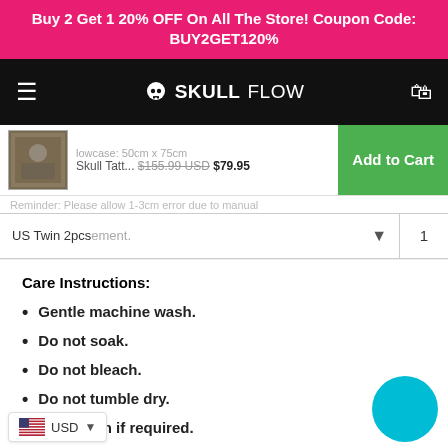Buy 2 Get 1 20% OFF On All The Store! Coupon Code: BUY2GET120%
[Figure (screenshot): SkullFlow e-commerce website navigation bar with hamburger menu, skull logo, and cart icon on black background]
[Figure (screenshot): Sticky product bar showing skull tattoo bedding thumbnail, product name 'Skull Tatt...', price $155.99 USD struck through with $79.95, and green Add to Cart button]
Reminder: Please allow 1-3cm error due to manual measurement.
US Twin 2pcs
Care Instructions:
Gentle machine wash.
Do not soak.
Do not bleach.
Do not tumble dry.
Warm iron if required.
...ry clean.
USD